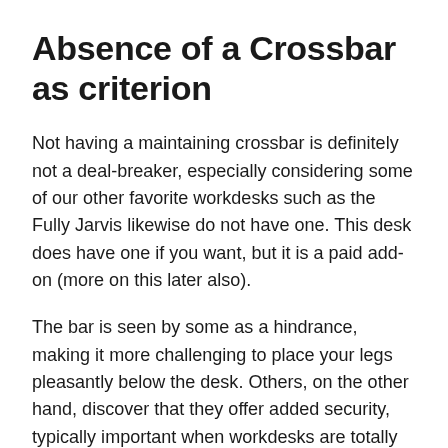Absence of a Crossbar as criterion
Not having a maintaining crossbar is definitely not a deal-breaker, especially considering some of our other favorite workdesks such as the Fully Jarvis likewise do not have one. This desk does have one if you want, but it is a paid add-on (more on this later also).
The bar is seen by some as a hindrance, making it more challenging to place your legs pleasantly below the desk. Others, on the other hand, discover that they offer added security, typically important when workdesks are totally extended.